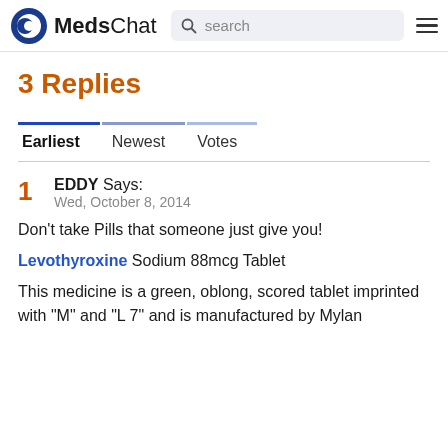MedsChat — search bar and hamburger menu
3 Replies
Tab: Earliest (active)
Tab: Newest
Tab: Votes
1 EDDY Says: Wed, October 8, 2014
Don't take Pills that someone just give you!
Levothyroxine Sodium 88mcg Tablet
This medicine is a green, oblong, scored tablet imprinted with "M" and "L 7" and is manufactured by Mylan